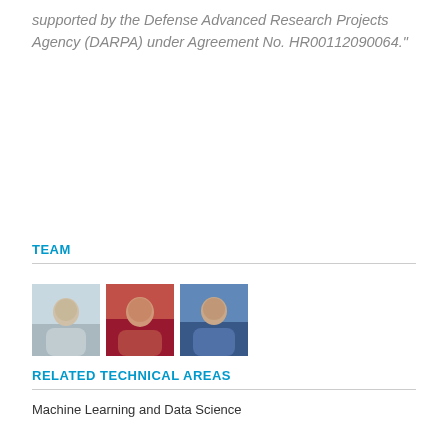supported by the Defense Advanced Research Projects Agency (DARPA) under Agreement No. HR00112090064."
TEAM
[Figure (photo): Three headshot photos of team members side by side]
RELATED TECHNICAL AREAS
Machine Learning and Data Science